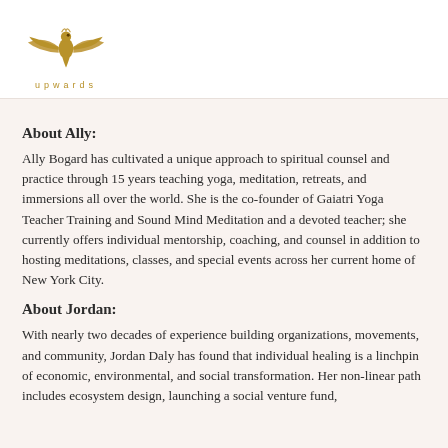upwards
About Ally:
Ally Bogard has cultivated a unique approach to spiritual counsel and practice through 15 years teaching yoga, meditation, retreats, and immersions all over the world. She is the co-founder of Gaiatri Yoga Teacher Training and Sound Mind Meditation and a devoted teacher; she currently offers individual mentorship, coaching, and counsel in addition to hosting meditations, classes, and special events across her current home of New York City.
About Jordan:
With nearly two decades of experience building organizations, movements, and community, Jordan Daly has found that individual healing is a linchpin of economic, environmental, and social transformation. Her non-linear path includes ecosystem design, launching a social venture fund,